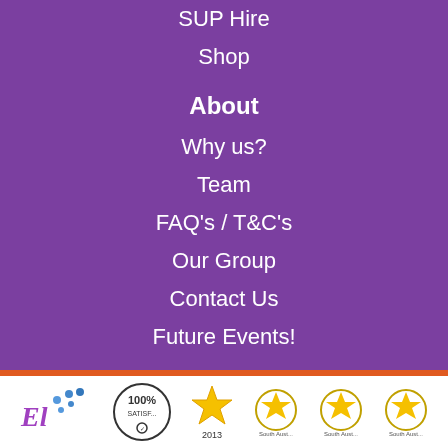SUP Hire
Shop
About
Why us?
Team
FAQ's / T&C's
Our Group
Contact Us
Future Events!
News
[Figure (logo): Footer logos including company logo, 100% satisfaction badge, and star/award badges for 2013 and subsequent years]